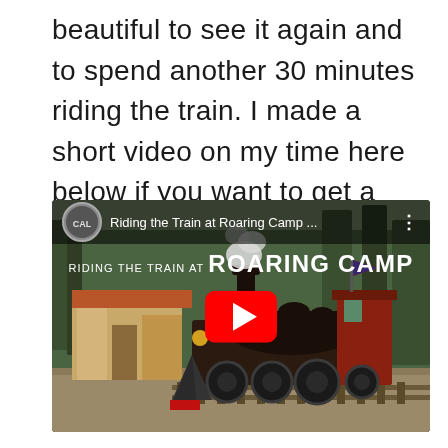beautiful to see it again and to spend another 30 minutes riding the train. I made a short video on my time here below if you want to get a better understanding of the experience.
[Figure (screenshot): YouTube video thumbnail for 'Riding the Train at Roaring Camp' showing a steam locomotive at a station with trees in the background. A red YouTube play button is overlaid in the center. The top bar shows the channel logo and video title.]